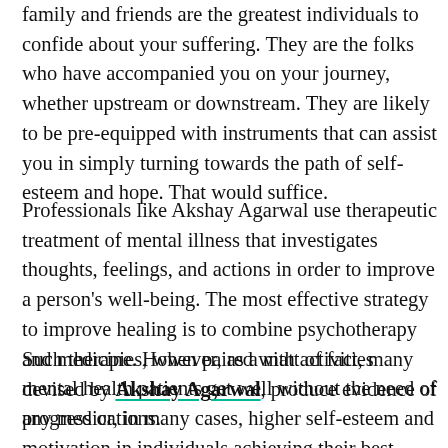family and friends are the greatest individuals to confide about your suffering. They are the folks who have accompanied you on your journey, whether upstream or downstream. They are likely to be pre-equipped with instruments that can assist you in simply turning towards the path of self-esteem and hope. That would suffice.
Professionals like Akshay Agarwal use therapeutic treatment of mental illness that investigates thoughts, feelings, and actions in order to improve a person's well-being. The most effective strategy to improve healing is to combine psychotherapy and medicine. However, as a matter of fact, many mental health patients get well without the need of any medications.
Such therapies, when paired with activities devised by Akshay Agarwal, produce evidence of progress or, in many cases, higher self-esteem and motivation in individuals achieving their best mental health outcomes.